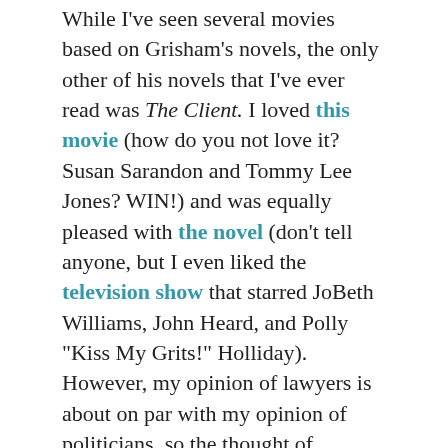While I've seen several movies based on Grisham's novels, the only other of his novels that I've ever read was The Client. I loved this movie (how do you not love it? Susan Sarandon and Tommy Lee Jones? WIN!) and was equally pleased with the novel (don't tell anyone, but I even liked the television show that starred JoBeth Williams, John Heard, and Polly "Kiss My Grits!" Holliday). However, my opinion of lawyers is about on par with my opinion of politicians, so the thought of subjecting myself to more stories that feature lawyers as heroic was about as alluring as sitting down to watch Sarah Palin's Alaska.
[Loba Tangent: My disdain for lawyers is, of course, a blatant generalization. I have met wonderful, upstanding lawyers who are decent, lovely people. I